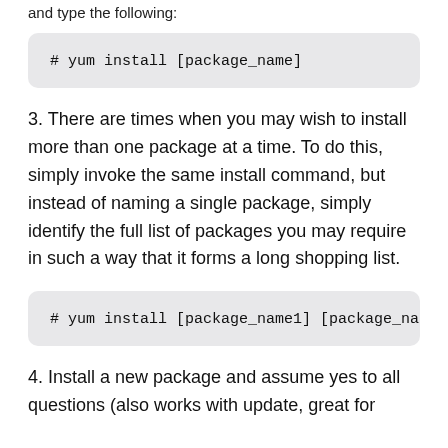and type the following:
# yum install [package_name]
3. There are times when you may wish to install more than one package at a time. To do this, simply invoke the same install command, but instead of naming a single package, simply identify the full list of packages you may require in such a way that it forms a long shopping list.
# yum install [package_name1] [package_na
4. Install a new package and assume yes to all questions (also works with update, great for